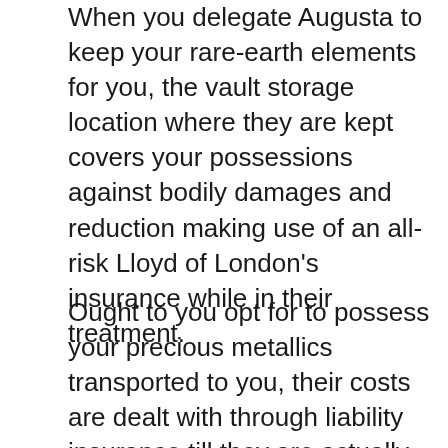When you delegate Augusta to keep your rare-earth elements for you, the vault storage location where they are kept covers your possessions against bodily damages and reduction making use of an all-risk Lloyd of London's insurance while in their treatment.
Ought to you opt for to possess your precious metallics transported to you, their costs are dealt with through liability insurance till they are actually supplied to your intended IRA storage center.
Map of Augusta Precious Metals Storage Facilities.
Gold and silvers in a self-directed gold IRA must be stored in a proper storage space location. Augusta Rare-earth elements are